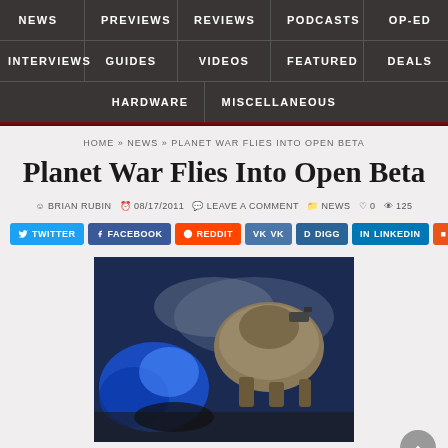NEWS | PREVIEWS | REVIEWS | PODCASTS | OP-ED | INTERVIEWS | GUIDES | VIDEOS | FEATURED | DEALS | HARDWARE | MISCELLANEOUS
HOME » NEWS » PLANET WAR FLIES INTO OPEN BETA
Planet War Flies Into Open Beta
BRIAN RUBIN  08/17/2011  LEAVE A COMMENT  NEWS  0  125
[Figure (infographic): Social sharing buttons: Twitter, Facebook, Reddit, VK, Digg, LinkedIn, Mix]
[Figure (photo): Screenshot of a spaceship that looks like the Trade Federation ship]
Looks like the Trade Federation ship from